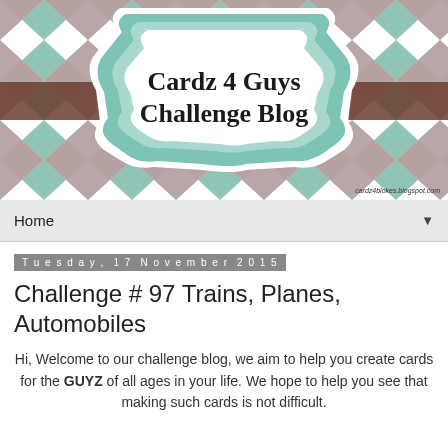[Figure (illustration): Cardz 4 Guys Challenge Blog banner image with harlequin diamond pattern in teal, white, and brown/grey colors, featuring a decorative label/badge shape in the center with the text 'Cardz 4 Guys Challenge Blog' in black handwritten-style font. A brown horizontal stripe runs across the middle. Small URL text in bottom right corner.]
Home
Tuesday, 17 November 2015
Challenge # 97 Trains, Planes, Automobiles
Hi, Welcome to our challenge blog, we aim to help you create cards for the GUYZ of all ages in your life. We hope to help you see that making such cards is not difficult.